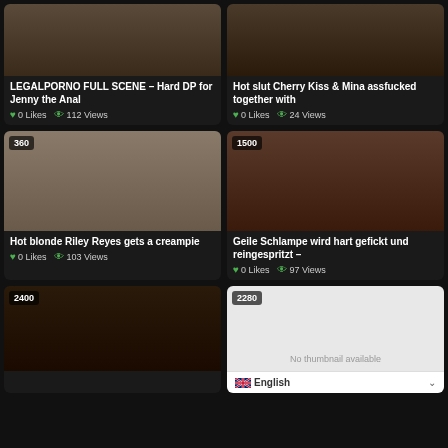[Figure (screenshot): Video thumbnail – dark adult content]
LEGALPORNO FULL SCENE – Hard DP for Jenny the Anal
0 Likes  112 Views
[Figure (screenshot): Video thumbnail – adult content]
Hot slut Cherry Kiss & Mina assfucked together with
0 Likes  24 Views
[Figure (screenshot): Video thumbnail 360 – blonde on bed]
Hot blonde Riley Reyes gets a creampie
0 Likes  103 Views
[Figure (screenshot): Video thumbnail 1500 – group on red sofa]
Geile Schlampe wird hart gefickt und reingespritzt –
0 Likes  97 Views
[Figure (screenshot): Video thumbnail 2400 – dark adult content]
[Figure (screenshot): Video thumbnail 2280 – no thumbnail available]
English